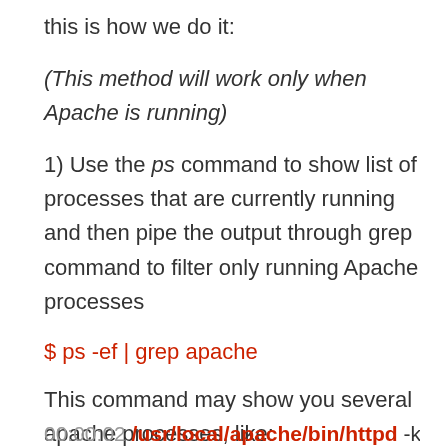this is how we do it:
(This method will work only when Apache is running)
1) Use the ps command to show list of processes that are currently running and then pipe the output through grep command to filter only running Apache processes
$ ps -ef | grep apache
This command may show you several apache processes, like:
00:00:02 /usr/local/apache/bin/httpd -k start